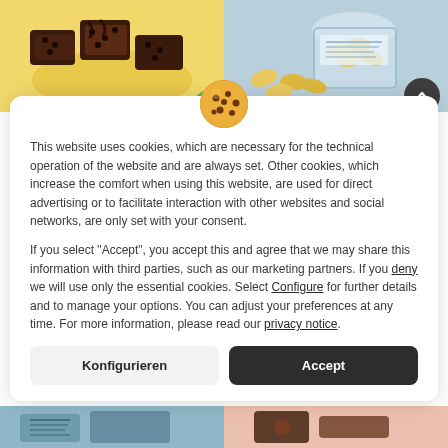[Figure (photo): Two product images: left shows chocolate brownies on a yellow background, right shows banana chips in a glass jar on a blue background]
[Figure (illustration): Cookie/biscuit emoji icon with chocolate chips, orange-yellow colored]
This website uses cookies, which are necessary for the technical operation of the website and are always set. Other cookies, which increase the comfort when using this website, are used for direct advertising or to facilitate interaction with other websites and social networks, are only set with your consent.
If you select "Accept", you accept this and agree that we may share this information with third parties, such as our marketing partners. If you deny we will use only the essential cookies. Select Configure for further details and to manage your options. You can adjust your preferences at any time. For more information, please read our privacy notice.
Konfigurieren
Accept
[Figure (photo): Two product images at bottom: left shows packaged food on blue background, right shows chocolate product on pink/light background]